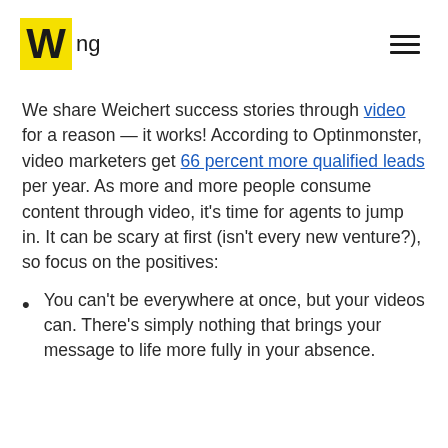W ng
We share Weichert success stories through video for a reason — it works! According to Optinmonster, video marketers get 66 percent more qualified leads per year. As more and more people consume content through video, it's time for agents to jump in. It can be scary at first (isn't every new venture?), so focus on the positives:
You can't be everywhere at once, but your videos can. There's simply nothing that brings your message to life more fully in your absence.